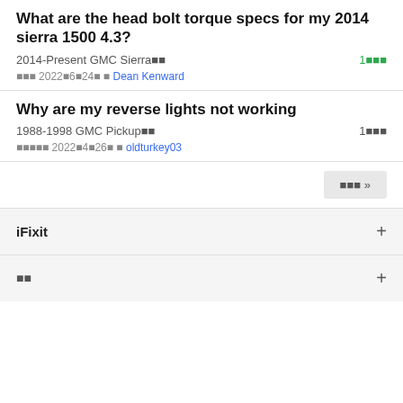What are the head bolt torque specs for my 2014 sierra 1500 4.3?
2014-Present GMC Sierra■■	1■■■
■■■ 2022■6■24■ ■ Dean Kenward
Why are my reverse lights not working
1988-1998 GMC Pickup■■	1■■■
■■■■■ 2022■4■26■ ■ oldturkey03
■■■ »
iFixit
■■